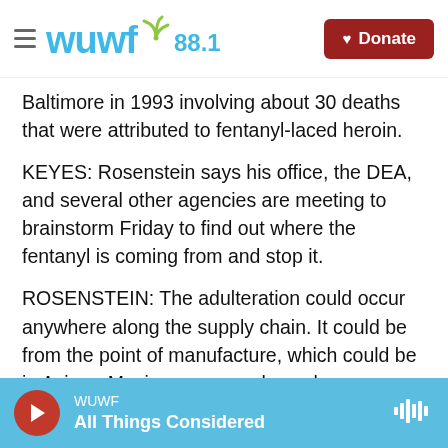WUWF 88.1 — Donate
Baltimore in 1993 involving about 30 deaths that were attributed to fentanyl-laced heroin.
KEYES: Rosenstein says his office, the DEA, and several other agencies are meeting to brainstorm Friday to find out where the fentanyl is coming from and stop it.
ROSENSTEIN: The adulteration could occur anywhere along the supply chain. It could be from the point of manufacture, which could be in Asia or Mexico or some place else.
KEYES: Back at the Baltimore City Health
WUWF — All Things Considered